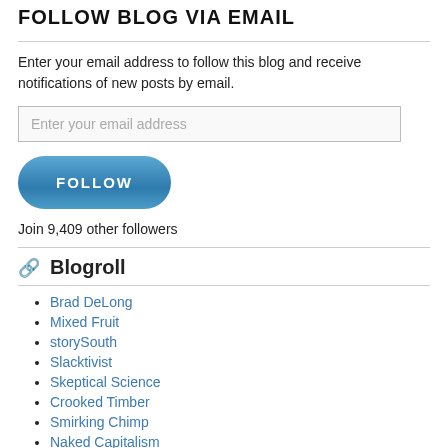FOLLOW BLOG VIA EMAIL
Enter your email address to follow this blog and receive notifications of new posts by email.
Enter your email address
[Figure (other): Blue FOLLOW button]
Join 9,409 other followers
Blogroll
Brad DeLong
Mixed Fruit
storySouth
Slacktivist
Skeptical Science
Crooked Timber
Smirking Chimp
Naked Capitalism
RealClimate
TruthOut